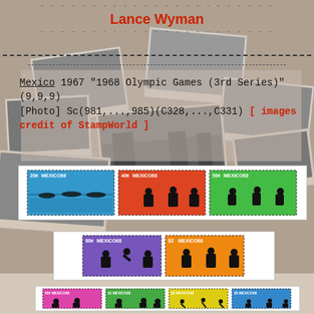Lance Wyman
Mexico 1967 "1968 Olympic Games (3rd Series)" (9,9,9) [Photo] Sc(981,...,985)(C328,...,C331) [ images credit of StampWorld ]
[Figure (photo): Strip of three Mexico 1968 Olympic stamps: 20c blue with rowing, 40c red-orange with wrestling/athletics, 50c green with field hockey]
[Figure (photo): Strip of two Mexico 1968 Olympic stamps: 80c purple with gymnastics, $2 orange with track and field]
[Figure (photo): Strip of four Mexico 1968 Olympic stamps: pink with skiing, green with athletics, yellow with archery, blue with swimming]